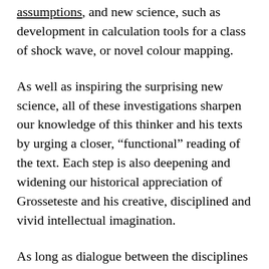assumptions, and new science, such as development in calculation tools for a class of shock wave, or novel colour mapping.
As well as inspiring the surprising new science, all of these investigations sharpen our knowledge of this thinker and his texts by urging a closer, “functional” reading of the text. Each step is also deepening and widening our historical appreciation of Grosseteste and his creative, disciplined and vivid intellectual imagination.
As long as dialogue between the disciplines is maintained there are no backward steps. Every suggestion contributes to the understanding of where we stand in relation to Grosseteste’s world,